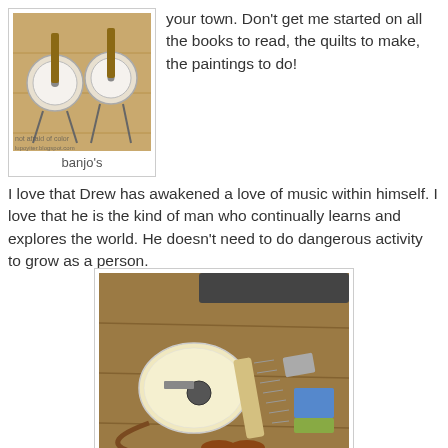[Figure (photo): Photo of banjo instruments on stands on a wooden floor, with watermark text 'not afraid of color' and blog URL]
banjo's
your town. Don't get me started on all the books to read, the quilts to make, the paintings to do!
I love that Drew has awakened a love of music within himself. I love that he is the kind of man who continually learns and explores the world. He doesn't need to do dangerous activity to grow as a person.
[Figure (photo): Photo of a travel/backpacker acoustic guitar lying on a wooden floor, with a price tag visible]